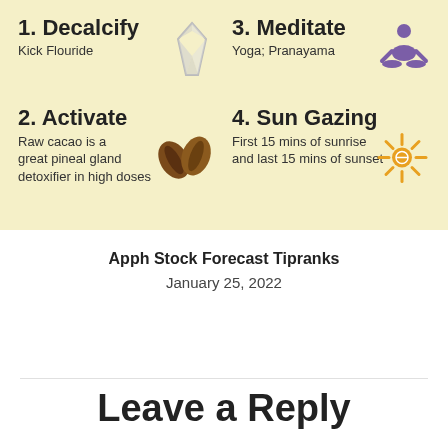[Figure (infographic): 4-item infographic on yellow background: 1. Decalcify (Kick Flouride) with crystal icon; 2. Activate (Raw cacao is a great pineal gland detoxifier in high doses) with cacao bean icon; 3. Meditate (Yoga; Pranayama) with meditation figure icon; 4. Sun Gazing (First 15 mins of sunrise and last 15 mins of sunset) with sun icon]
Apph Stock Forecast Tipranks
January 25, 2022
Leave a Reply